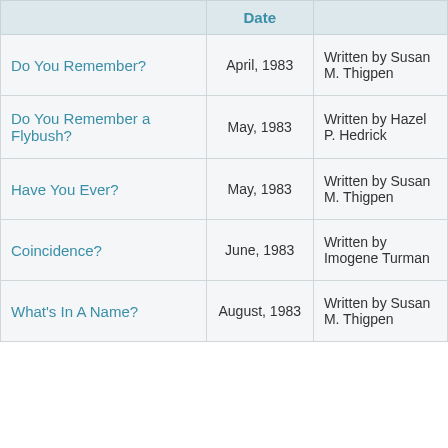|  | Date |  |
| --- | --- | --- |
| Do You Remember? | April, 1983 | Written by Susan M. Thigpen |
| Do You Remember a Flybush? | May, 1983 | Written by Hazel P. Hedrick |
| Have You Ever? | May, 1983 | Written by Susan M. Thigpen |
| Coincidence? | June, 1983 | Written by Imogene Turman |
| What's In A Name? | August, 1983 | Written by Susan M. Thigpen |